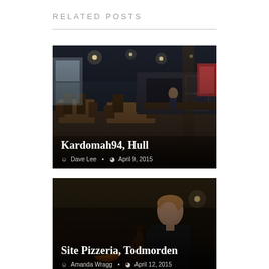RELATED POSTS
[Figure (photo): Interior of Kardomah94 restaurant in Hull showing dining tables, chairs, and kitchen area in a dark atmospheric setting]
Kardomah94, Hull — Dave Lee · April 9, 2015
[Figure (photo): Person working at a wood-fired pizza oven at Site Pizzeria in Todmorden, with warm glow from the fire]
Site Pizzeria, Todmorden — Amanda Wragg · April 12, 2015